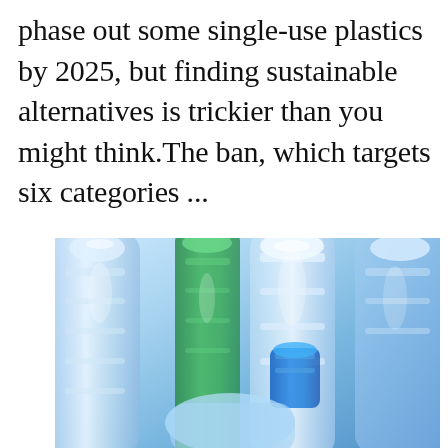phase out some single-use plastics by 2025, but finding sustainable alternatives is trickier than you might think.The ban, which targets six categories ...
[Figure (photo): Close-up photo of multiple plastic bottles of various colors including clear/transparent, green, and blue, clustered together]